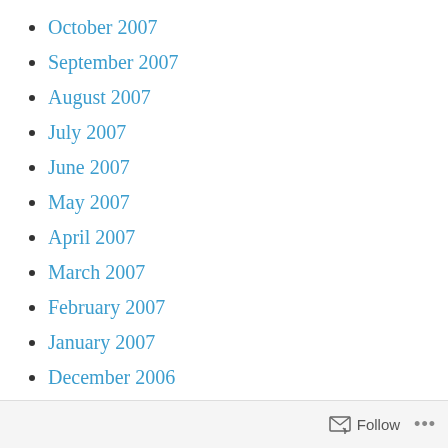October 2007
September 2007
August 2007
July 2007
June 2007
May 2007
April 2007
March 2007
February 2007
January 2007
December 2006
November 2006
October 2006
September 2006
August 2006
Follow ...